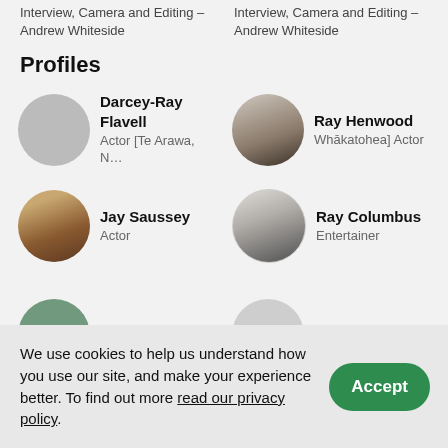Interview, Camera and Editing – Andrew Whiteside
Interview, Camera and Editing – Andrew Whiteside
Profiles
[Figure (photo): Circular avatar placeholder (gray) for Darcey-Ray Flavell]
Darcey-Ray Flavell
Actor [Te Arawa, N…
[Figure (photo): Circular photo of Ray Henwood, smiling older man with white hair]
Ray Henwood
Whākatohea] Actor
[Figure (photo): Circular photo of Jay Saussey, woman with brown hair smiling]
Jay Saussey
Actor
[Figure (photo): Circular black-and-white photo of Ray Columbus]
Ray Columbus
Entertainer
[Figure (photo): Partially visible circular photo (teal tinted) at bottom left]
[Figure (photo): Partially visible circular avatar (gray) at bottom right]
We use cookies to help us understand how you use our site, and make your experience better. To find out more read our privacy policy.